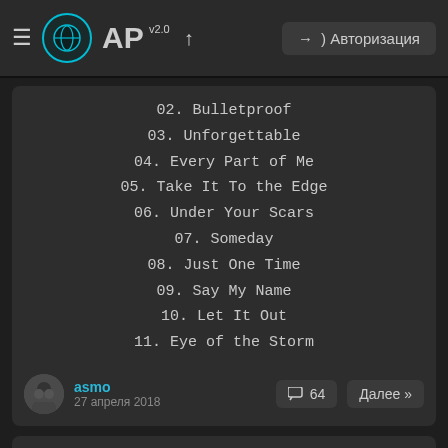AP v2.0 — Авторизация
02. Bulletproof
03. Unforgettable
04. Every Part of Me
05. Take It To the Edge
06. Under Your Scars
07. Someday
08. Just One Time
09. Say My Name
10. Let It Out
11. Eye of the Storm
asmo
27 апреля 2018
64
Далее »
Toundra - Vortex (2018)
516
Lossless
Toundra - Vortex (2018)